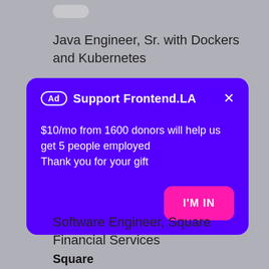Java Engineer, Sr. with Dockers and Kubernetes
[Figure (infographic): Purple advertisement card with header 'Ad Support Frontend.LA', body text '$10/mo from 1600 donors will help us get 5 people employed / Thank you for your gift', and a pink 'I'M IN' button]
Software Engineer, Square Financial Services
Square